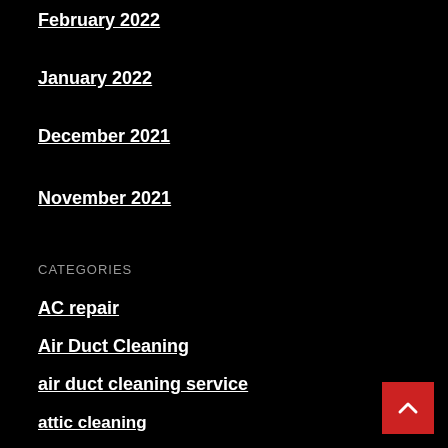February 2022
January 2022
December 2021
November 2021
CATEGORIES
AC repair
Air Duct Cleaning
air duct cleaning service
attic cleaning
Attic insulation replacement